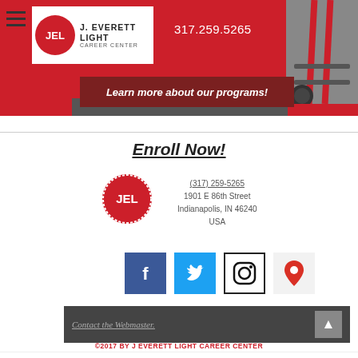[Figure (logo): J. Everett Light Career Center logo with JEL circle and text, red background header with phone number 317.259.5265]
Learn more about our programs!
Enroll Now!
[Figure (logo): JEL circular logo in red with white text]
(317) 259-5265
1901 E 86th Street
Indianapolis, IN 46240
USA
[Figure (infographic): Social media icons: Facebook, Twitter, Instagram, Google Maps]
Contact the Webmaster.
©2017 BY J EVERETT LIGHT CAREER CENTER
Phone  Twitter  Contact F...  Chat